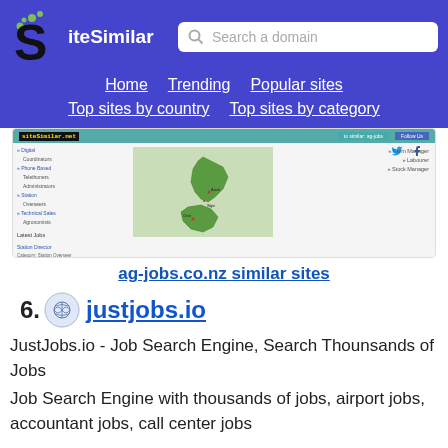SiteSimilar - Search a domain - Home, Trending, Popular sites, Top sites by country, Top sites by category
[Figure (screenshot): Screenshot of ag-jobs.co.nz website showing a job listing page with a map of New Zealand]
ag-jobs.co.nz similar sites
76. justjobs.io
JustJobs.io - Job Search Engine, Search Thounsands of Jobs
Job Search Engine with thousands of jobs, airport jobs, accountant jobs, call center jobs